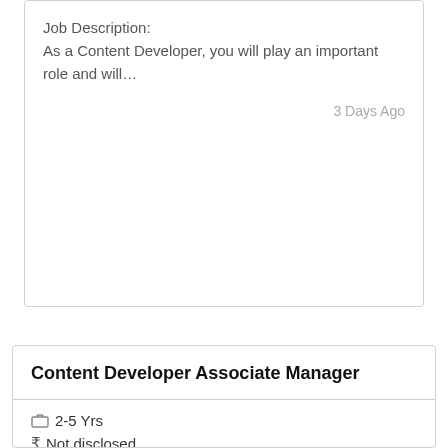Job Description:
As a Content Developer, you will play an important role and will…
3 Days Ago
Content Developer Associate Manager
2-5 Yrs
Not disclosed
Chennai, Kolkata, Mumbai, Hyderabad/Secunderabad, Pune, Bangalore/Bengaluru, delhi ncr
Job Description:
As a Content Developer, you will play an important role and will…